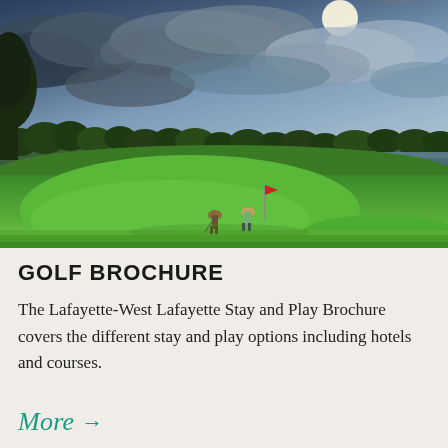[Figure (photo): A golf course with two golfers on a putting green in the foreground, surrounded by lush green grass, trees in the background, a lake or water hazard visible to the right, and a dramatic cloudy sky with sunlight breaking through at dusk or dawn.]
GOLF BROCHURE
The Lafayette-West Lafayette Stay and Play Brochure covers the different stay and play options including hotels and courses.
More →